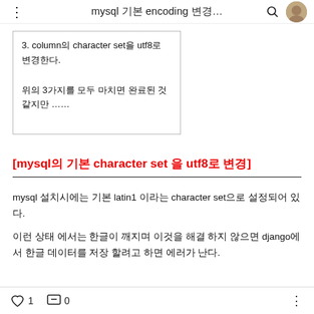mysql 기본 encoding 변경…
3. column의 character set을 utf8로 변경한다.

위의 3가지를 모두 마치면 완료된 것 같지만 ……
[mysql의 기본 character set 을 utf8로 변경]
mysql 설치시에는 기본 latin1 이라는 character set으로 설정되어 있다.
이런 상태 에서는 한글이 깨지며 이것을 해결 하지 않으면 django에서 한글 데이터를 저장 할려고 하면 에러가 난다.
♡ 1  💬 0